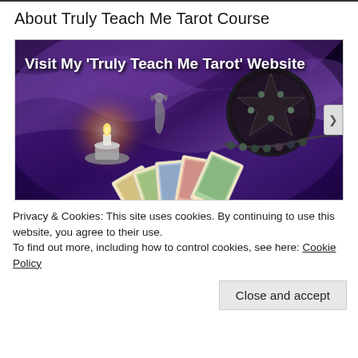About Truly Teach Me Tarot Course
[Figure (photo): A dark mystical photograph showing tarot cards fanned out on a purple fabric background, with a lit candle in a decorative silver holder, a fairy statue, a pentacle symbol decoration, and crystal/gemstone beads. White bold text overlay reads: Visit My 'Truly Teach Me Tarot' Website]
Privacy & Cookies: This site uses cookies. By continuing to use this website, you agree to their use.
To find out more, including how to control cookies, see here: Cookie Policy
Close and accept